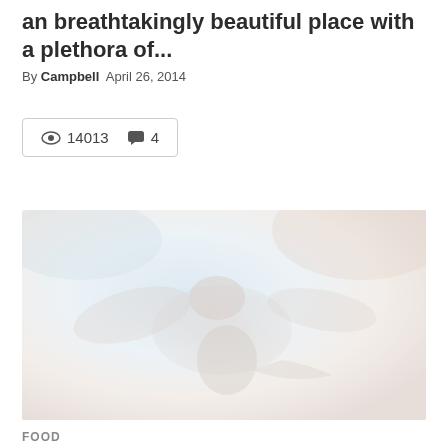an breathtakingly beautiful place with a plethora of...
By Campbell   April 26, 2014
👁 14013  💬 4
[Figure (photo): A faded, washed-out photo of what appears to be an animal (possibly a bat or eagle) in flight against a light blue sky background.]
FOOD